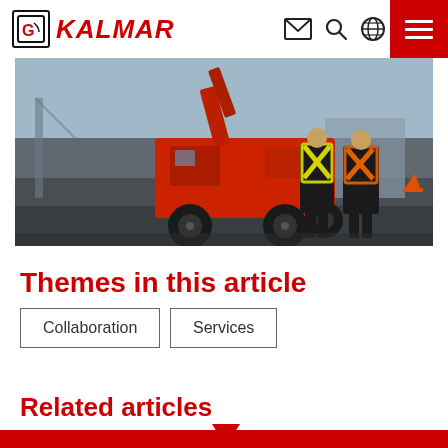KALMAR
[Figure (photo): Two workers in high-visibility vests walking toward a large red Kalmar reach stacker / container handler at a port or industrial facility. The machine has large black tires and a crane arm raised. Industrial setting with ships and cranes in the background.]
Themes in this article
Collaboration
Services
Related articles